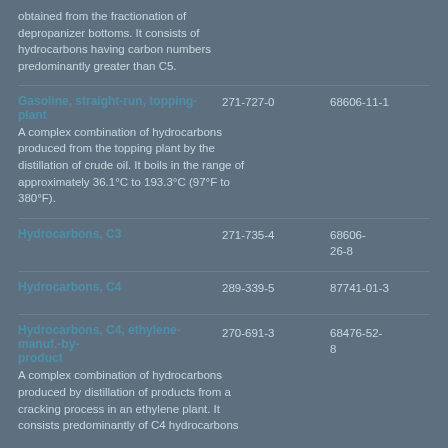obtained from the fractionation of depropanizer bottoms. It consists of hydrocarbons having carbon numbers predominantly greater than C5.
Gasoline, straight-run, topping-plant | EC: 271-727-0 | CAS: 68606-11-1 | A complex combination of hydrocarbons produced from the topping plant by the distillation of crude oil. It boils in the range of approximately 36.1°C to 193.3°C (97°F to 380°F).
Hydrocarbons, C3 | EC: 271-735-4 | CAS: 68606-26-8
Hydrocarbons, C4 | EC: 289-339-5 | CAS: 87741-01-3
Hydrocarbons, C4, ethylene-manuf.-by-product | EC: 270-691-3 | CAS: 68476-52-8 | A complex combination of hydrocarbons produced by distillation of products from a cracking process in an ethylene plant. It consists predominantly of C4 hydrocarbons.